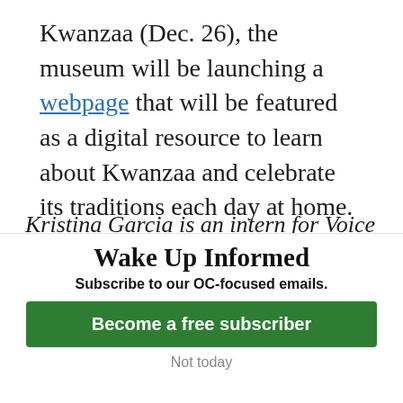Kwanzaa (Dec. 26), the museum will be launching a webpage that will be featured as a digital resource to learn about Kwanzaa and celebrate its traditions each day at home.
Kristina Garcia is an intern for Voice of OC Arts & Culture. She can be reached at kristinamgarcia6@gmail.com.
Wake Up Informed
Subscribe to our OC-focused emails.
Become a free subscriber
Not today